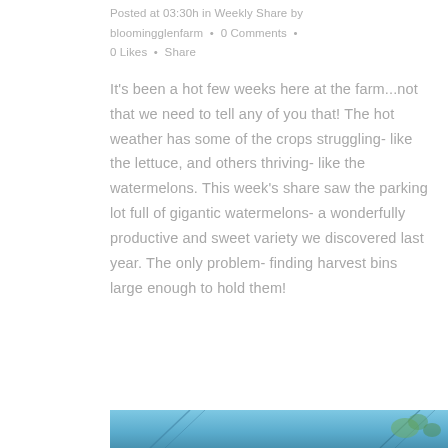Posted at 03:30h in Weekly Share by bloomingglenfarm • 0 Comments • 0 Likes • Share
It's been a hot few weeks here at the farm...not that we need to tell any of you that! The hot weather has some of the crops struggling- like the lettuce, and others thriving- like the watermelons. This week's share saw the parking lot full of gigantic watermelons- a wonderfully productive and sweet variety we discovered last year. The only problem- finding harvest bins large enough to hold them!
[Figure (photo): Partial view of a photo with blue sky and what appears to be farm/plant imagery at the bottom of the page]